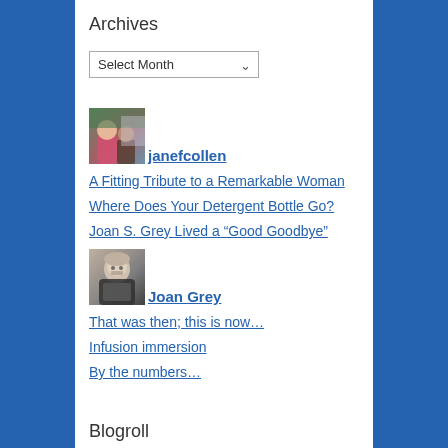Archives
Select Month
[Figure (photo): Avatar photo of janefcollen, showing two people near a window]
janefcollen
A Fitting Tribute to a Remarkable Woman
Where Does Your Detergent Bottle Go?
Joan S. Grey Lived a “Good Goodbye”
[Figure (photo): Avatar photo of Joan Grey, showing an older woman with glasses]
Joan Grey
That was then; this is now…
Infusion immersion
By the numbers…
Blogroll